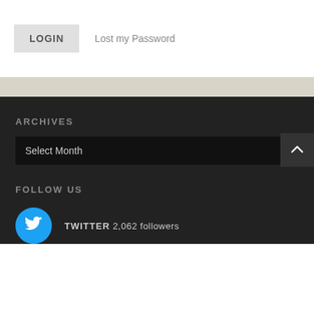LOGIN   Lost my Password
ARCHIVES
Select Month
FOLLOW US
TWITTER 2,062 followers